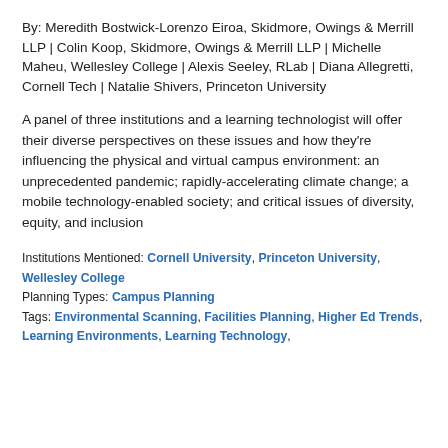By: Meredith Bostwick-Lorenzo Eiroa, Skidmore, Owings & Merrill LLP | Colin Koop, Skidmore, Owings & Merrill LLP | Michelle Maheu, Wellesley College | Alexis Seeley, RLab | Diana Allegretti, Cornell Tech | Natalie Shivers, Princeton University
A panel of three institutions and a learning technologist will offer their diverse perspectives on these issues and how they're influencing the physical and virtual campus environment: an unprecedented pandemic; rapidly-accelerating climate change; a mobile technology-enabled society; and critical issues of diversity, equity, and inclusion
Institutions Mentioned: Cornell University, Princeton University, Wellesley College
Planning Types: Campus Planning
Tags: Environmental Scanning, Facilities Planning, Higher Ed Trends, Learning Environments, Learning Technology,